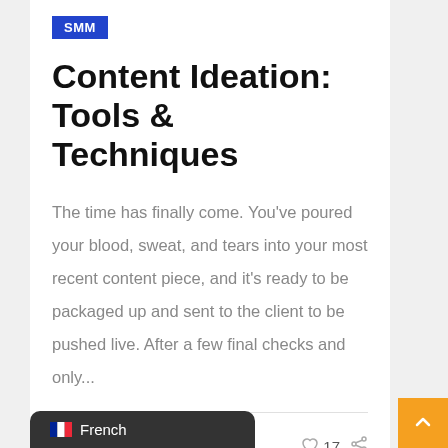SMM
Content Ideation: Tools & Techniques
The time has finally come. You've poured your blood, sweat, and tears into your most recent content piece, and it's ready to be packaged up and sent to the client to be pushed live. After a few final checks and only...
Arena • 16 Novembre 2018  17
French